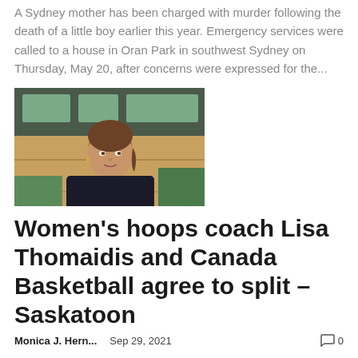A Sydney mother has been charged with murder following the death of a little boy earlier this year. Emergency services were called to a house in Oran Park in southwest Sydney on Thursday, May 20, after concerns were expressed for the...
[Figure (photo): Woman with brown hair in a dark top being interviewed in a gymnasium/basketball court setting]
Women's hoops coach Lisa Thomaidis and Canada Basketball agree to split – Saskatoon
Monica J. Hern...   Sep 29, 2021   0